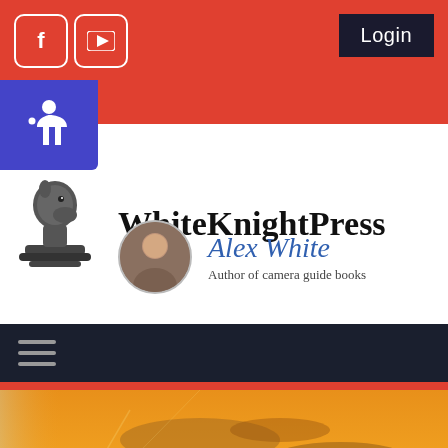[Figure (screenshot): Website header for WhiteKnightPress with red top bar containing Facebook and YouTube social icons and a Login button, accessibility icon, chess knight logo, site title, author profile with photo, navigation bar, and sunset hero image.]
Login
WhiteKnightPress
Alex White
Author of camera guide books